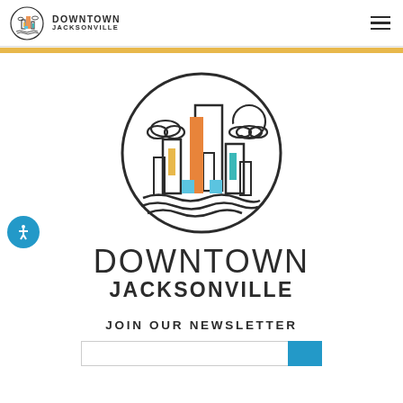DOWNTOWN JACKSONVILLE
[Figure (logo): Downtown Jacksonville circular city skyline logo with colored building accents in orange, yellow, teal, and blue, with wavy water lines at the bottom]
DOWNTOWN JACKSONVILLE
JOIN OUR NEWSLETTER